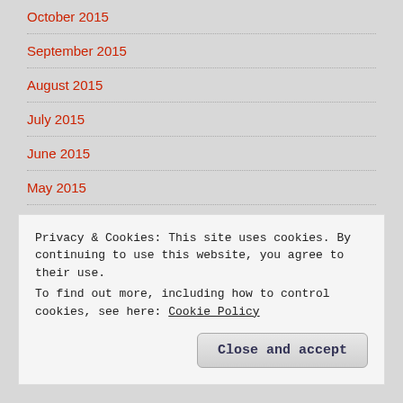October 2015
September 2015
August 2015
July 2015
June 2015
May 2015
April 2015
March 2015
February 2015
Privacy & Cookies: This site uses cookies. By continuing to use this website, you agree to their use.
To find out more, including how to control cookies, see here: Cookie Policy